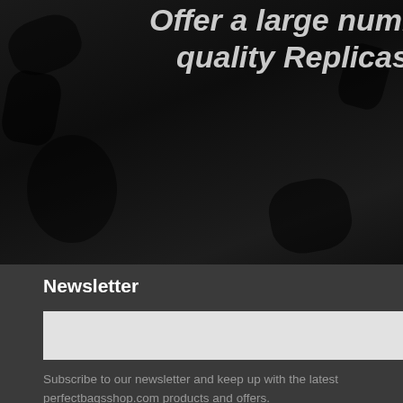[Figure (screenshot): Dark hero banner with italic bold text overlaid on grunge/dark background. A white circular navigation arrow button is visible. A product card panel is partially visible on the right showing a blue bag image and product info.]
Offer a large number of high-quality Replicas For Your
Luxury ...
High He...
$190
Newsletter
Subscribe
Subscribe to our newsletter and keep up with the latest perfectbagsshop.com products and offers.
Compa...
FAQ
Sitema...
Free Sh...
100% G...
Suppo...